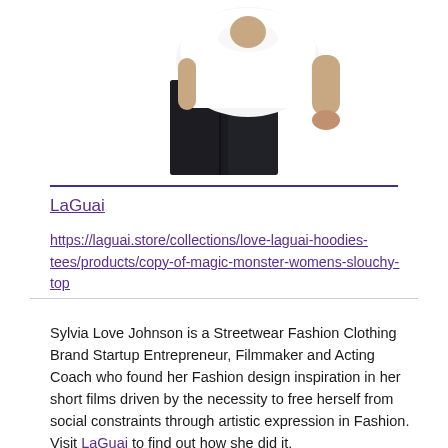[Figure (photo): Partial view of a person wearing a white t-shirt and dark jeans, cropped at the torso, centered on white background]
LaGuai
https://laguai.store/collections/love-laguai-hoodies-tees/products/copy-of-magic-monster-womens-slouchy-top
Sylvia Love Johnson is a Streetwear Fashion Clothing Brand Startup Entrepreneur, Filmmaker and Acting Coach who found her Fashion design inspiration in her short films driven by the necessity to free herself from social constraints through artistic expression in Fashion. Visit LaGuai to find out how she did it.